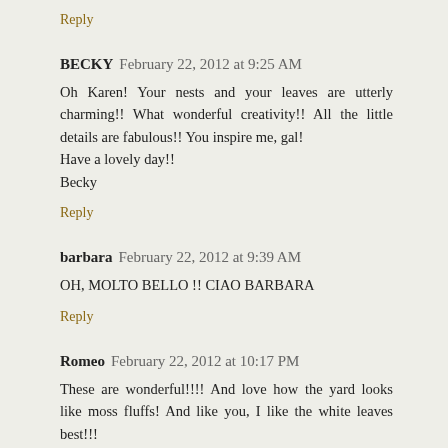Reply
BECKY  February 22, 2012 at 9:25 AM
Oh Karen! Your nests and your leaves are utterly charming!! What wonderful creativity!! All the little details are fabulous!! You inspire me, gal!
Have a lovely day!!
Becky
Reply
barbara  February 22, 2012 at 9:39 AM
OH, MOLTO BELLO !! CIAO BARBARA
Reply
Romeo  February 22, 2012 at 10:17 PM
These are wonderful!!!! And love how the yard looks like moss fluffs! And like you, I like the white leaves best!!!